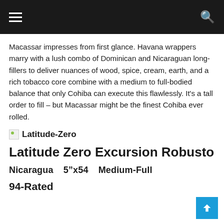≡  🔍
Macassar impresses from first glance. Havana wrappers marry with a lush combo of Dominican and Nicaraguan long-fillers to deliver nuances of wood, spice, cream, earth, and a rich tobacco core combine with a medium to full-bodied balance that only Cohiba can execute this flawlessly. It's a tall order to fill – but Macassar might be the finest Cohiba ever rolled.
[Figure (logo): Latitude-Zero brand logo with broken image icon and text 'Latitude-Zero']
Latitude Zero Excursion Robusto
Nicaragua    5"x54    Medium-Full
94-Rated